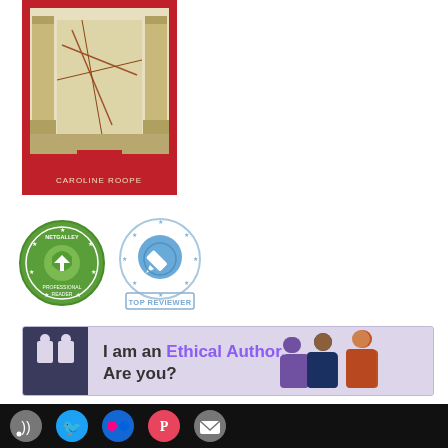[Figure (illustration): Book cover image - red background with architectural columns and a map, author name Caroline Roope at bottom]
[Figure (logo): NetGalley Professional Reader badge (green circular badge) and NetGalley Top Reviewer badge (blue circular badge with stars and pencil icon)]
[Figure (infographic): Ethical Author banner - purple/lavender background with dark icon showing two figures, text 'I am an Ethical Author. Are you?' with people illustration on right]
[Figure (infographic): Black footer bar with social media icon buttons: RSS (grey), Twitter (blue), Flickr (blue), Patreon (red), Email (grey)]